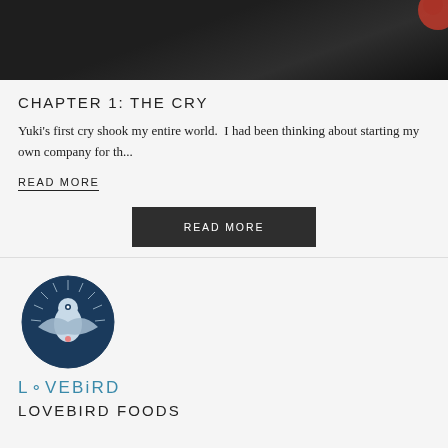[Figure (photo): Dark/nighttime photo partially visible at top showing a dark scene with red decorative element in upper right corner]
CHAPTER 1: THE CRY
Yuki's first cry shook my entire world.  I had been thinking about starting my own company for th...
READ MORE
READ MORE
[Figure (logo): Lovebird circular logo with bird illustration and teal LOVEBIRD text below]
LOVEBIRD FOODS